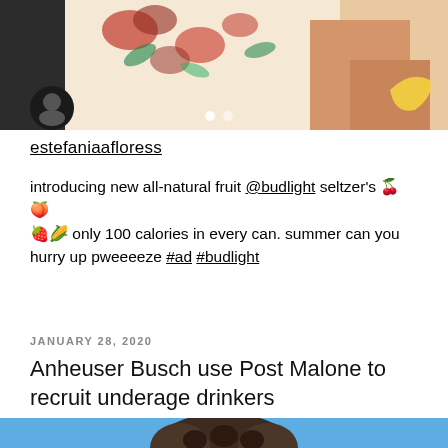[Figure (photo): Instagram post image showing a woman in a floral dress holding a banana, with a carousel dot indicator and a user avatar icon overlay at bottom left]
estefaniaafloress
introducing new all-natural fruit @budlight seltzer's 🍒🍑🍓🌽 only 100 calories in every can. summer can you hurry up pweeeeze #ad #budlight
JANUARY 28, 2020
Anheuser Busch use Post Malone to recruit underage drinkers
[Figure (photo): Bottom portion of article image showing top of a person's curly hair against a teal/green background]